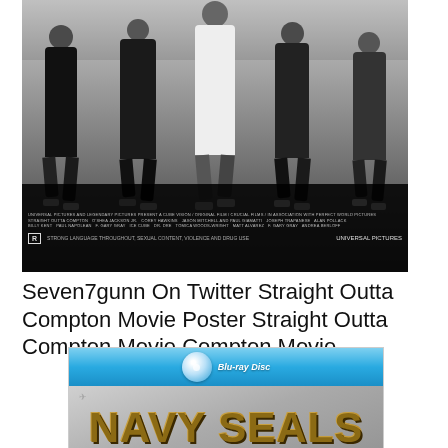[Figure (photo): Black and white movie poster for 'Straight Outta Compton' showing five men walking on a road, with film credits at the bottom including an R rating and Universal Pictures logo.]
Seven7gunn On Twitter Straight Outta Compton Movie Poster Straight Outta Compton Movie Compton Movie
[Figure (photo): Blu-ray disc cover for 'Navy Seals vs. Zombies' showing a blue Blu-ray banner at the top and the movie title in large distressed gold lettering on a grey background.]